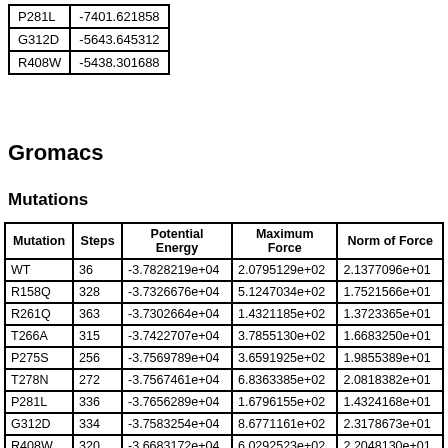| Mutation | Value |
| --- | --- |
| P281L | -7401.621858 |
| G312D | -5643.645312 |
| R408W | -5438.301688 |
Gromacs
Mutations
| Mutation | Steps | Potential Energy | Maximum Force | Norm of Force |
| --- | --- | --- | --- | --- |
| WT | 36 | -3.7828219e+04 | 2.0795129e+02 | 2.1377096e+01 |
| R158Q | 328 | -3.7326676e+04 | 5.1247034e+02 | 1.7521566e+01 |
| R261Q | 363 | -3.7302664e+04 | 1.4321185e+02 | 1.3723365e+01 |
| T266A | 315 | -3.7422707e+04 | 3.7855130e+02 | 1.6683250e+01 |
| P275S | 256 | -3.7569789e+04 | 3.6591925e+02 | 1.9855389e+01 |
| T278N | 272 | -3.7567461e+04 | 6.8363385e+02 | 2.0818382e+01 |
| P281L | 336 | -3.7656289e+04 | 1.6796155e+02 | 1.4324168e+01 |
| G312D | 334 | -3.7583254e+04 | 8.6771161e+02 | 2.3178673e+01 |
| R408W | 320 | -3.6683172e+04 | 6.0292523e+02 | 2.2048130e+01 |